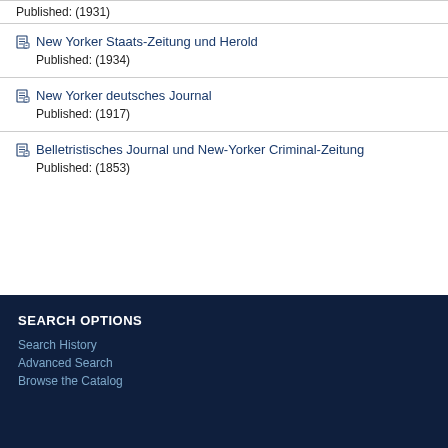Published: (1931)
New Yorker Staats-Zeitung und Herold
Published: (1934)
New Yorker deutsches Journal
Published: (1917)
Belletristisches Journal und New-Yorker Criminal-Zeitung
Published: (1853)
SEARCH OPTIONS
Search History
Advanced Search
Browse the Catalog